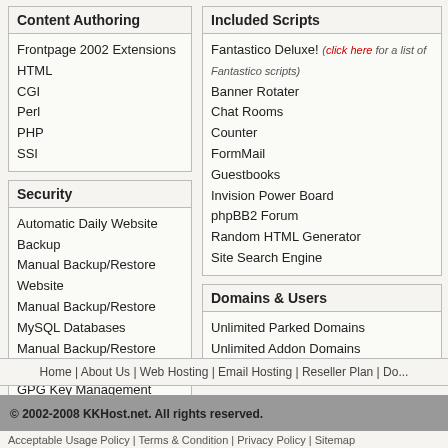Content Authoring
Frontpage 2002 Extensions
HTML
CGI
Perl
PHP
SSI
Security
Automatic Daily Website Backup
Manual Backup/Restore Website
Manual Backup/Restore MySQL Databases
Manual Backup/Restore Alias/Filter
GPG Key Management
Included Scripts
Fantastico Deluxe! (click here for a list of Fantastico scripts)
Banner Rotater
Chat Rooms
Counter
FormMail
Guestbooks
Invision Power Board
phpBB2 Forum
Random HTML Generator
Site Search Engine
Domains & Users
Unlimited Parked Domains
Unlimited Addon Domains
Home | About Us | Web Hosting | Email Hosting | Reseller Plan | Do...
© 2002-2008 KKHost.net. All rights reserved.
Acceptable Usage Policy | Terms & Condition | Privacy Policy | Sitemap